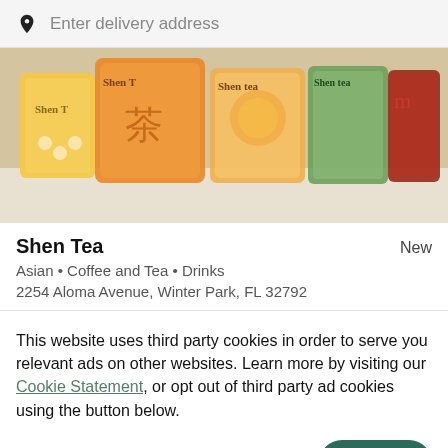Enter delivery address
[Figure (photo): Hero image showing multiple colorful bubble tea drinks in cups with the Shen Tea logo on them, arranged side by side on a white surface]
Shen Tea
New
Asian • Coffee and Tea • Drinks
2254 Aloma Avenue, Winter Park, FL 32792
This website uses third party cookies in order to serve you relevant ads on other websites. Learn more by visiting our Cookie Statement, or opt out of third party ad cookies using the button below.
OPT OUT
GOT IT